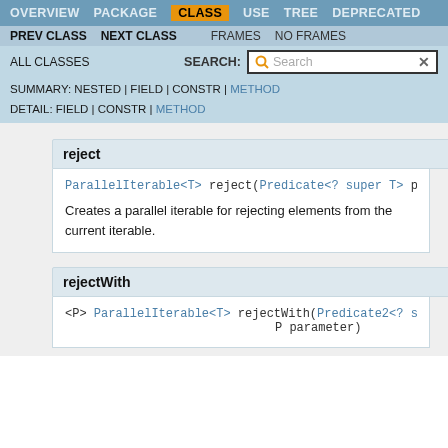OVERVIEW  PACKAGE  CLASS  USE  TREE  DEPRECATED
PREV CLASS  NEXT CLASS  FRAMES  NO FRAMES
ALL CLASSES  SEARCH:  [Search box]
SUMMARY: NESTED | FIELD | CONSTR | METHOD  DETAIL: FIELD | CONSTR | METHOD
reject
ParallelIterable<T> reject(Predicate<? super T> p
Creates a parallel iterable for rejecting elements from the current iterable.
rejectWith
<P> ParallelIterable<T> rejectWith(Predicate2<? s
                               P parameter)